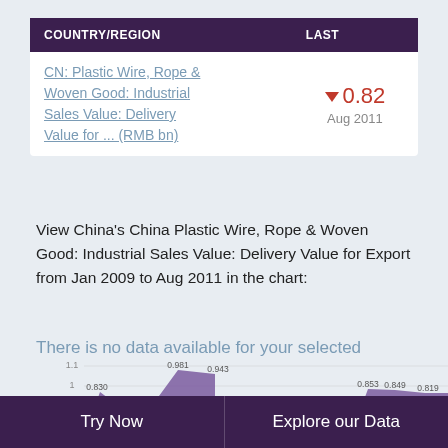| COUNTRY/REGION | LAST |
| --- | --- |
| CN: Plastic Wire, Rope & Woven Good: Industrial Sales Value: Delivery Value for ... (RMB bn) | ▼ 0.82
Aug 2011 |
View China's China Plastic Wire, Rope & Woven Good: Industrial Sales Value: Delivery Value for Export from Jan 2009 to Aug 2011 in the chart:
There is no data available for your selected dates.
[Figure (area-chart): Partial area chart showing values around 0.83-0.981 range with purple filled area, data points labeled: 0.830, 0.530, 0.981, 0.943, 0.600, 0.853, 0.849, 0.819. Y-axis shows 1.1, 1, 0.9 gridlines.]
Try Now    Explore our Data